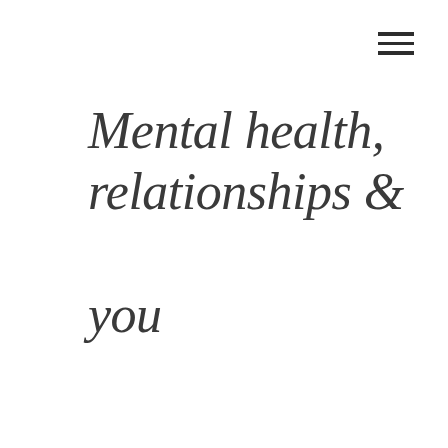[Figure (other): Hamburger menu icon (three horizontal lines) in the top-right corner]
Mental health, relationships & you